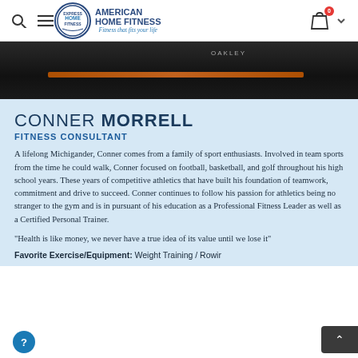American Home Fitness — Fitness that fits your life
[Figure (photo): Person wearing a dark long-sleeve shirt with an orange stripe across the chest, cropped to show the torso only against a light background.]
CONNER MORRELL
FITNESS CONSULTANT
A lifelong Michigander, Conner comes from a family of sport enthusiasts. Involved in team sports from the time he could walk, Conner focused on football, basketball, and golf throughout his high school years. These years of competitive athletics that have built his foundation of teamwork, commitment and drive to succeed. Conner continues to follow his passion for athletics being no stranger to the gym and is in pursuant of his education as a Professional Fitness Leader as well as a Certified Personal Trainer.
"Health is like money, we never have a true idea of its value until we lose it"
Favorite Exercise/Equipment: Weight Training / Rowir